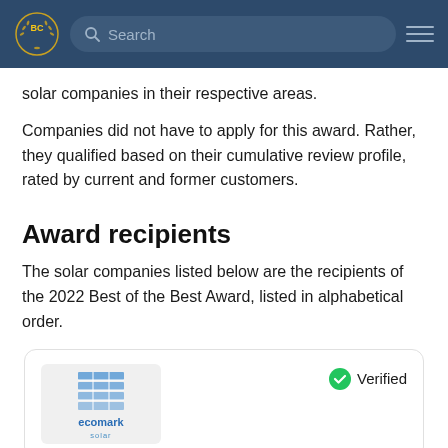BC [logo] Search [hamburger menu]
solar companies in their respective areas.
Companies did not have to apply for this award. Rather, they qualified based on their cumulative review profile, rated by current and former customers.
Award recipients
The solar companies listed below are the recipients of the 2022 Best of the Best Award, listed in alphabetical order.
[Figure (logo): Ecomark Solar company logo inside a card with Verified badge]